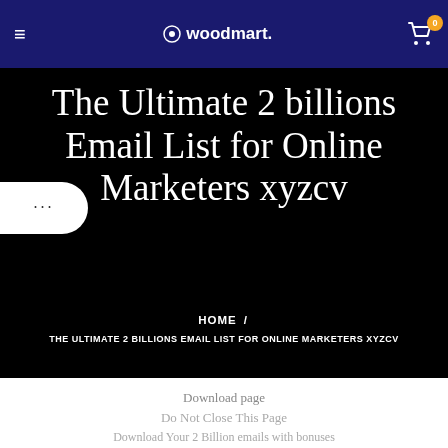woodmart. [hamburger menu] [cart 0]
The Ultimate 2 billions Email List for Online Marketers xyzcv
HOME / THE ULTIMATE 2 BILLIONS EMAIL LIST FOR ONLINE MARKETERS XYZCV
Download page
Do Not Close This Page
Download Your 2 Billion emails with bonuses
Email List